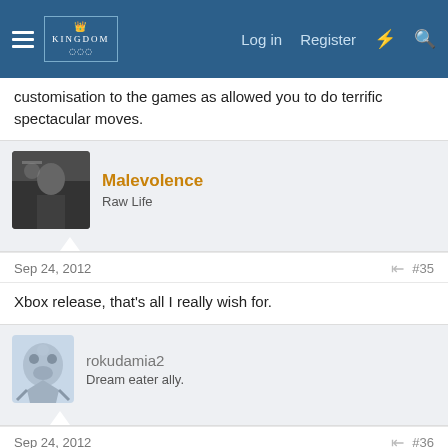Log in  Register
customisation to the games as allowed you to do terrific spectacular moves.
Malevolence
Raw Life
Sep 24, 2012  #35
Xbox release, that's all I really wish for.
rokudamia2
Dream eater ally.
Sep 24, 2012  #36
I hate to break it to you guys , but they aren't changing the gameplay. HDcollections all play like they did when first released. The only exception is PSP to console ports.